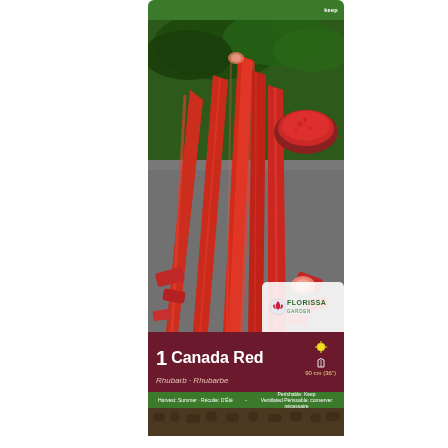[Figure (photo): A seed/bulb packet for 'Canada Red' Rhubarb by Florissa. The front of the packet shows fresh red rhubarb stalks with green leaves and a bowl of rhubarb sauce. The packet has a green top banner, a large photo of rhubarb, a Florissa brand logo, a dark burgundy label band with '1 Canada Red / Rhubarb - Rhubarbe', a green info strip with harvest and perishable details, and a bottom bulb area.]